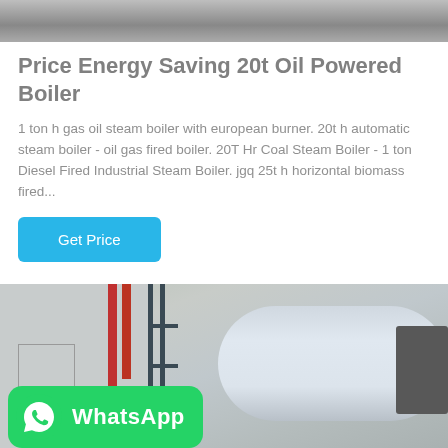[Figure (photo): Top portion of a boiler or industrial equipment photo, cropped at the top of the page]
Price Energy Saving 20t Oil Powered Boiler
1 ton h gas oil steam boiler with european burner. 20t h automatic steam boiler - oil gas fired boiler. 20T Hr Coal Steam Boiler - 1 ton Diesel Fired Industrial Steam Boiler. jgq 25t h horizontal biomass fired...
[Figure (other): Get Price button - a blue rounded rectangle button with white text]
[Figure (photo): Industrial boiler photograph showing a large horizontal cylindrical boiler tank with pipes and metal scaffolding structure, with a WhatsApp badge overlay in the bottom left corner]